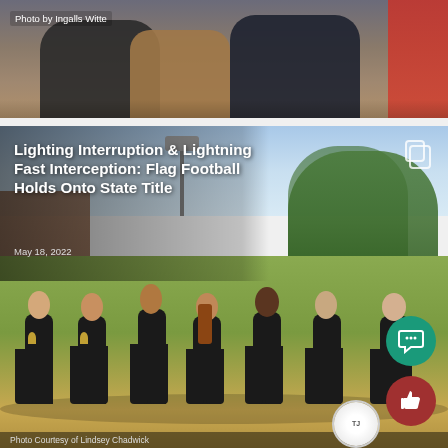[Figure (photo): Top strip photo showing people in dark and brown jackets, with red accent on right side. Photo credit: Ingalls Witte]
Photo by Ingalls Witte
[Figure (photo): Main article card showing a photo of seven girls in black flag football uniforms (#9, #8, #14 visible) holding a state championship trophy, wearing medals, posing on a football field with trees in background. Title overlay: 'Lighting Interruption & Lightning Fast Interception: Flag Football Holds Onto State Title', dated May 18, 2022. Two FAB buttons: comment (teal) and like (red). Photo credit: Photo Courtesy of Lindsey Chadwick]
Lighting Interruption & Lightning Fast Interception: Flag Football Holds Onto State Title
May 18, 2022
Photo Courtesy of Lindsey Chadwick